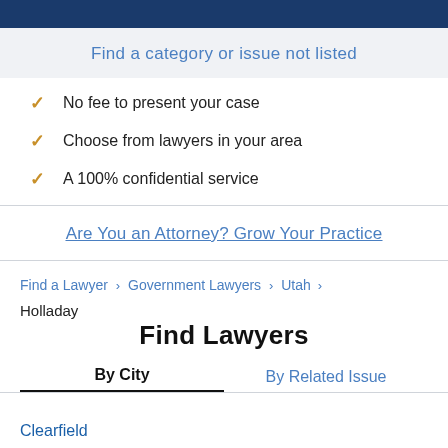Find a category or issue not listed
No fee to present your case
Choose from lawyers in your area
A 100% confidential service
Are You an Attorney? Grow Your Practice
Find a Lawyer > Government Lawyers > Utah > Holladay
Find Lawyers
By City
By Related Issue
Clearfield